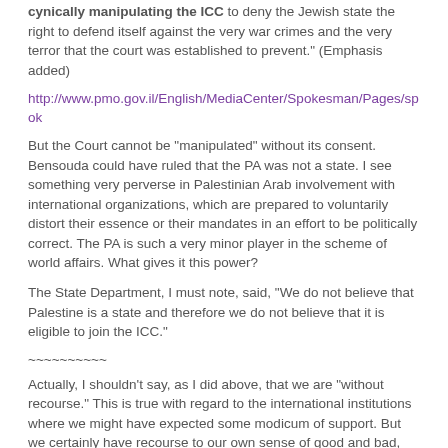cynically manipulating the ICC to deny the Jewish state the right to defend itself against the very war crimes and the very terror that the court was established to prevent." (Emphasis added)
http://www.pmo.gov.il/English/MediaCenter/Spokesman/Pages/spok
But the Court cannot be “manipulated” without its consent. Bensouda could have ruled that the PA was not a state. I see something very perverse in Palestinian Arab involvement with international organizations, which are prepared to voluntarily distort their essence or their mandates in an effort to be politically correct. The PA is such a very minor player in the scheme of world affairs. What gives it this power?
The State Department, I must note, said, “We do not believe that Palestine is a state and therefore we do not believe that it is eligible to join the ICC.”
~~~~~~~~~~
Actually, I shouldn’t say, as I did above, that we are “without recourse.” This is true with regard to the international institutions where we might have expected some modicum of support. But we certainly have recourse to our own sense of good and bad, and, most importantly, to the judgment of Heaven.